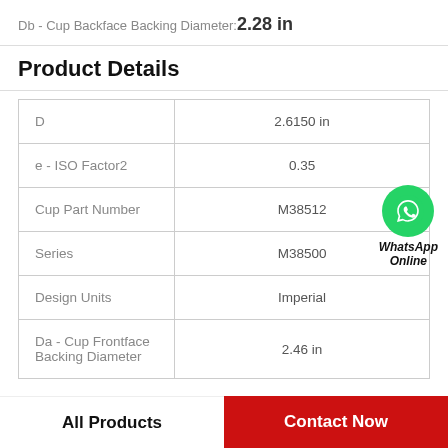Db - Cup Backface Backing Diameter: 2.28 in
Product Details
|  |  |
| --- | --- |
| D | 2.6150 in |
| e - ISO Factor2 | 0.35 |
| Cup Part Number | M38512 |
| Series | M38500 |
| Design Units | Imperial |
| Da - Cup Frontface Backing Diameter | 2.46 in |
[Figure (logo): WhatsApp Online badge with green phone icon]
All Products   Contact Now